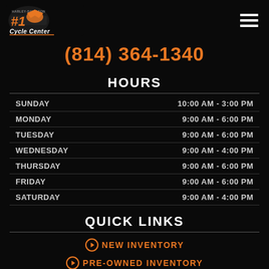[Figure (logo): Harley-Davidson #1 Cycle Center logo with orange eagle graphic]
(814) 364-1340
HOURS
| Day | Hours |
| --- | --- |
| SUNDAY | 10:00 AM - 3:00 PM |
| MONDAY | 9:00 AM - 6:00 PM |
| TUESDAY | 9:00 AM - 6:00 PM |
| WEDNESDAY | 9:00 AM - 4:00 PM |
| THURSDAY | 9:00 AM - 6:00 PM |
| FRIDAY | 9:00 AM - 6:00 PM |
| SATURDAY | 9:00 AM - 4:00 PM |
QUICK LINKS
NEW INVENTORY
PRE-OWNED INVENTORY